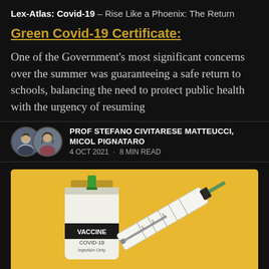Lex-Atlas: Covid-19 – Rise Like a Phoenix: The Return
Green Covid-19 Certificate:
One of the Government's most significant concerns over the summer was guaranteeing a safe return to schools, balancing the need to protect public health with the urgency of resuming
PROF STEFANO CIVITARESE MATTEUCCI, MICOL PIGNATARO
4 OCT 2021 · 8 MIN READ
[Figure (photo): Photo of a COVID-19 vaccine vial labeled 'VACCINE COVID-19 Injection Only' with a syringe on a yellow background]